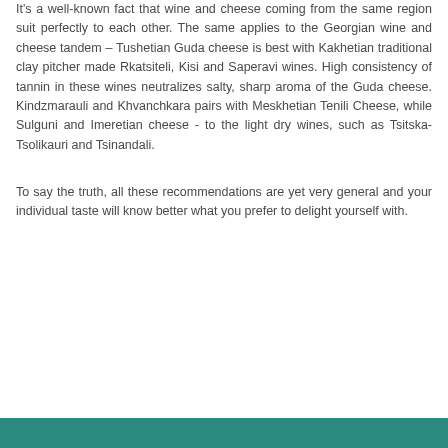It's a well-known fact that wine and cheese coming from the same region suit perfectly to each other. The same applies to the Georgian wine and cheese tandem – Tushetian Guda cheese is best with Kakhetian traditional clay pitcher made Rkatsiteli, Kisi and Saperavi wines. High consistency of tannin in these wines neutralizes salty, sharp aroma of the Guda cheese. Kindzmarauli and Khvanchkara pairs with Meskhetian Tenili Cheese, while Sulguni and Imeretian cheese - to the light dry wines, such as Tsitska-Tsolikauri and Tsinandali.
To say the truth, all these recommendations are yet very general and your individual taste will know better what you prefer to delight yourself with.